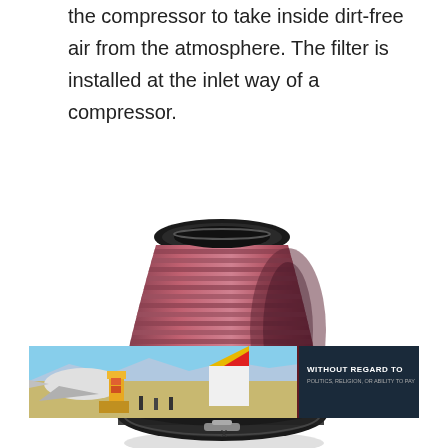the compressor to take inside dirt-free air from the atmosphere. The filter is installed at the inlet way of a compressor.
[Figure (photo): A conical air filter for a compressor, with red pleated filter media and black rubber end caps. The filter tapers from a wider base to a narrower top opening.]
Credit: Vortech superchrgers
[Figure (photo): An advertisement banner showing an aircraft being loaded with cargo at an airport, with text 'WITHOUT REGARD TO POLITICS, RELIGION, OR ABILITY TO PAY']
x